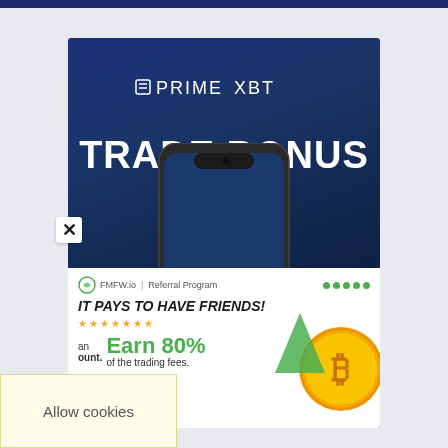[Figure (advertisement): PrimeXBT Trade Bonus advertisement showing a smartphone on a dark blue gradient background with the PrimeXBT logo at top and 'TRADE BONUS' in large white bold text]
[Figure (advertisement): FMFW.io Referral Program ad with text 'IT PAYS TO HAVE FRIENDS!' and 'Earn 80% of the trading fees.' with Bitcoin coin graphic]
Allow cookies